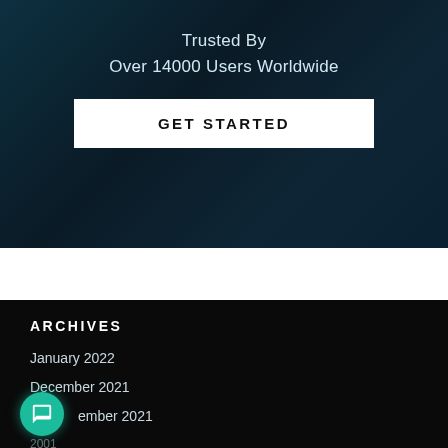[Figure (screenshot): Dark teal/blue background banner with text and button]
Trusted By
Over 14000 Users Worldwide
GET STARTED
ARCHIVES
January 2022
December 2021
ember 2021
2001